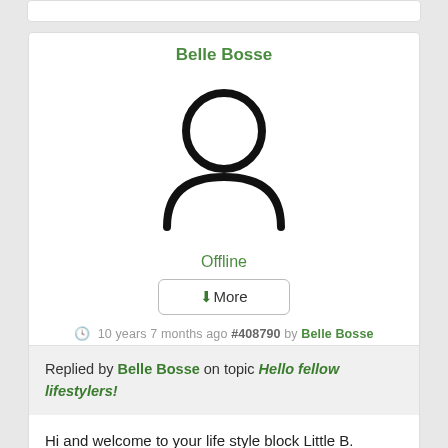[Figure (screenshot): Top card partial white bar at top of page]
Belle Bosse
[Figure (illustration): Generic user avatar icon (circle head + semicircle body) in black outline]
Offline
↓More
10 years 7 months ago #408790 by Belle Bosse
Replied by Belle Bosse on topic Hello fellow lifestylers!
Hi and welcome to your life style block Little B. Peep.
May you never loose your sheep!!